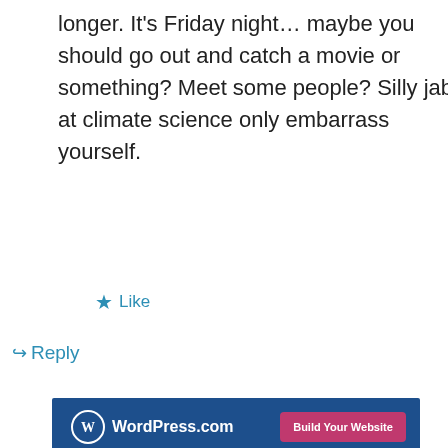longer. It's Friday night... maybe you should go out and catch a movie or something? Meet some people? Silly jabs at climate science only embarrass yourself.
★ Like
↪ Reply
[Figure (other): WordPress.com advertisement banner with logo and 'Build Your Website' button]
REPORT THIS AD
Privacy & Cookies: This site uses cookies. By continuing to use this website, you agree to their use.
To find out more, including how to control cookies, see here: Cookie Policy
Close and accept